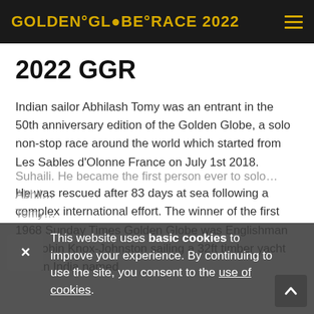GOLDEN°GLOBE°RACE 2022
2022 GGR
Indian sailor Abhilash Tomy was an entrant in the 50th anniversary edition of the Golden Globe, a solo non-stop race around the world which started from Les Sables d'Olonne France on July 1st 2018.
He was rescued after 83 days at sea following a complex international effort. The winner of the first 1968 Sunday Times Golden Globe was Englishman Sir Robin Knox-Johnston sailing a 32ft timber yacht built in India named
This website uses basic cookies to improve your experience. By continuing to use the site, you consent to the use of cookies.